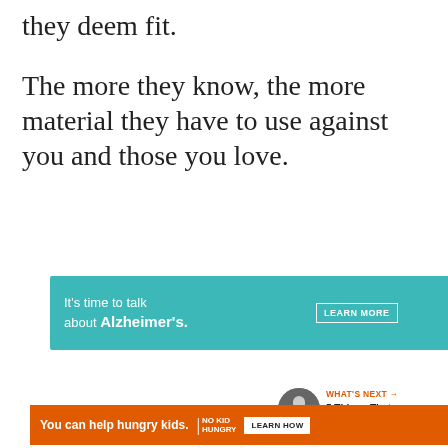they deem fit.
The more they know, the more material they have to use against you and those you love.
[Figure (other): Advertisement for Alzheimer's Association: 'It's time to talk about Alzheimer's.' with a LEARN MORE button and logo. Teal background.]
[Figure (other): Heart/like button (red circle) with count '22' and share button below]
[Figure (other): What's Next promo: '5 Things That Happen Whe...' with thumbnail image]
[Figure (other): Advertisement for No Kid Hungry: 'You can help hungry kids.' with LEARN HOW button. Orange background.]